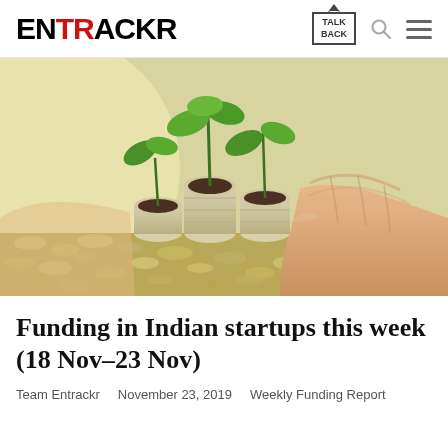ENTRACKR
[Figure (photo): Hands cupping stacked coins with green plant seedlings growing from soil on top, symbolizing investment and growth in Indian startups]
Funding in Indian startups this week (18 Nov–23 Nov)
Team Entrackr   November 23, 2019   Weekly Funding Report